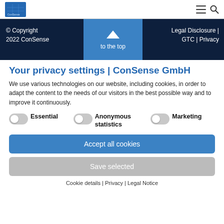ConSense logo, menu and search icons
[Figure (screenshot): Dark navy footer strip with copyright text on left, blue 'to the top' button in center, and legal links on right]
Your privacy settings | ConSense GmbH
We use various technologies on our website, including cookies, in order to adapt the content to the needs of our visitors in the best possible way and to improve it continuously.
Essential   Anonymous statistics   Marketing (toggle switches)
Accept all cookies
Save selected
Cookie details | Privacy | Legal Notice